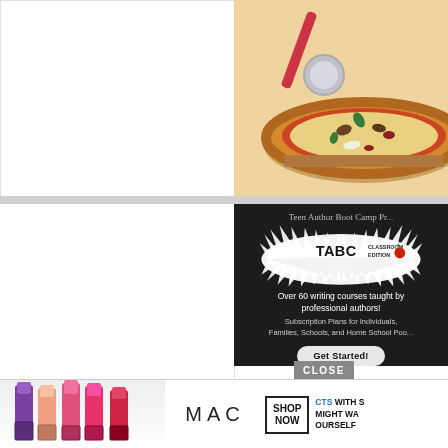[Figure (photo): Pizza being sliced with a red pizza cutter on a wooden board, top right of page]
[Figure (infographic): TABC Teen Author Boot Camp Classroom Edition advertisement on black textured background. Text: 'Teen Author Boot Camp Pr...', TABC CLASSROOM EDITION logo with splatter graphic, 'Over 60 writing courses taught by professional authors!', 'Subscription Plans for Individuals, Families, Schools, and Home School Poo...', 'Get Started!' button]
CLOSE
[Figure (photo): MAC cosmetics advertisement banner at bottom showing lipsticks, MAC logo, SHOP NOW button, and text 'CTS WITH S MIGHT WA OURSELF']